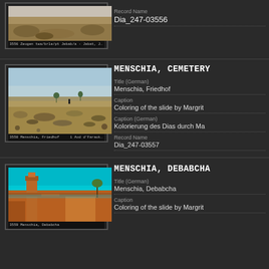[Figure (photo): Partial top entry – scanned slide of desert/rocky landscape with handwritten caption bar. Record: Dia_247-03556]
Record Name
Dia_247-03556
MENSCHIA, CEMETERY
Title (German)
Menschia, Friedhof
Caption
Coloring of the slide by Margrit
Caption (German)
Kolorierung des Dias durch Ma
Record Name
Dia_247-03557
[Figure (photo): Scanned color slide of Menschia cemetery – desert landscape with scrub vegetation and arid ground under blue sky.]
MENSCHIA, DEBABCHA
Title (German)
Menschia, Debabcha
Caption
Coloring of the slide by Margrit
[Figure (photo): Scanned color slide of Menschia Debabcha – mud brick building/tower under vivid turquoise sky with palm tree.]